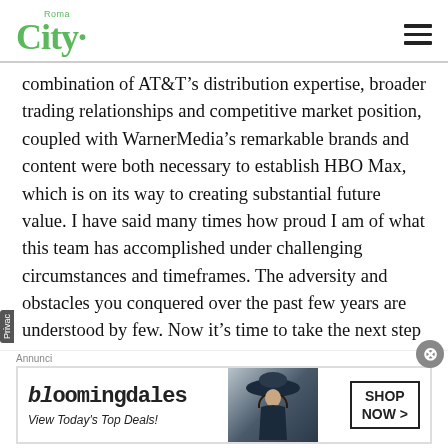Roma City
combination of AT&T’s distribution expertise, broader trading relationships and competitive market position, coupled with WarnerMedia’s remarkable brands and content were both necessary to establish HBO Max, which is on its way to creating substantial future value. I have said many times how proud I am of what this team has accomplished under challenging circumstances and timeframes. The adversity and obstacles you conquered over the past few years are understood by few. Now it’s time to take the next step in WarnerMedia’s evolution to be a global media leader — not just for the next year,
[Figure (advertisement): Bloomingdale's advertisement banner with text 'View Today’s Top Deals!' and 'SHOP NOW >' button, with a model wearing a large hat on the right side.]